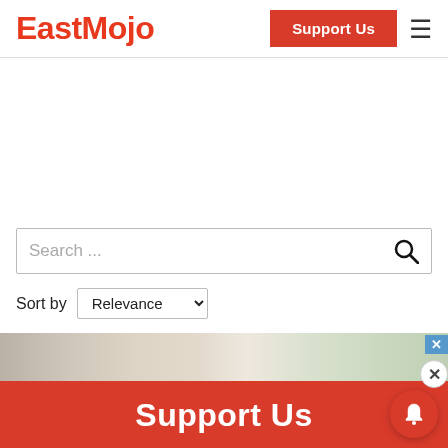EastMojo
[Figure (screenshot): EastMojo website header with logo, Support Us button, and hamburger menu icon]
[Figure (screenshot): Search bar with placeholder text 'Search ...' and magnifying glass icon]
Sort by Relevance
[Figure (photo): Advertisement banner with group photo, partially visible, with blue close button]
[Figure (screenshot): Red Support Us bottom bar with notification bell icon and close X button]